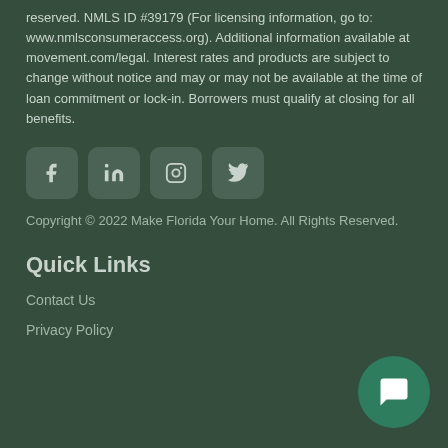reserved. NMLS ID #39179 (For licensing information, go to: www.nmlsconsumeraccess.org). Additional information available at movement.com/legal. Interest rates and products are subject to change without notice and may or may not be available at the time of loan commitment or lock-in. Borrowers must qualify at closing for all benefits.
[Figure (other): Social media icons: Facebook, LinkedIn, Instagram, Twitter]
Copyright © 2022 Make Florida Your Home. All Rights Reserved.
Quick Links
Contact Us
Privacy Policy